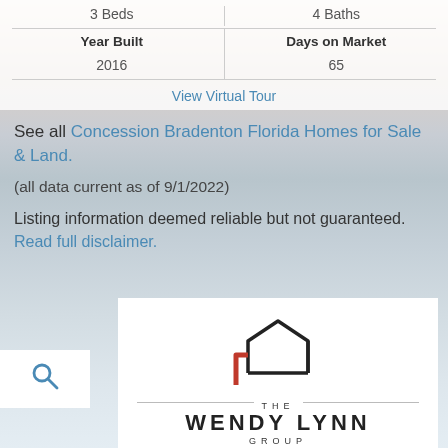|  |  |
| --- | --- |
| 3 Beds | 4 Baths |
| Year Built | Days on Market |
| 2016 | 65 |
View Virtual Tour
See all Concession Bradenton Florida Homes for Sale & Land.
(all data current as of 9/1/2022)
Listing information deemed reliable but not guaranteed. Read full disclaimer.
[Figure (logo): The Wendy Lynn Group logo — a house outline in black with a red L-bracket at the bottom-left, beneath which reads THE WENDY LYNN GROUP]